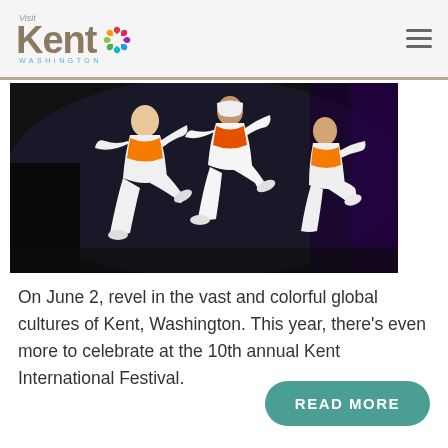Visit Kent Washington
[Figure (photo): Performers in white outfits with orange sashes dancing/jumping on a dark stage, likely at the Kent International Festival]
On June 2, revel in the vast and colorful global cultures of Kent, Washington. This year, there's even more to celebrate at the 10th annual Kent International Festival.
READ MORE